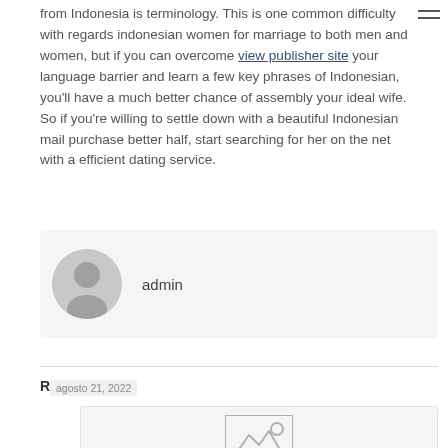from Indonesia is terminology. This is one common difficulty with regards indonesian women for marriage to both men and women, but if you can overcome view publisher site your language barrier and learn a few key phrases of Indonesian, you'll have a much better chance of assembly your ideal wife. So if you're willing to settle down with a beautiful Indonesian mail purchase better half, start searching for her on the net with a efficient dating service.
[Figure (illustration): User avatar icon — circular grey placeholder with silhouette of a person]
admin
Related posts
agosto 21, 2022
[Figure (illustration): Image placeholder icon — grey box with mountain/landscape and sun icon]